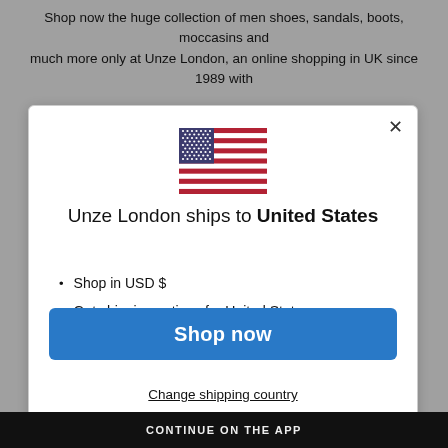Shop now the huge collection of men shoes, sandals, boots, moccasins and much more only at Unze London, an online shopping in UK since 1989 with
[Figure (illustration): US flag icon centered in modal dialog]
Unze London ships to United States
Shop in USD $
Get shipping options for United States
Shop now
Change shipping country
CONTINUE ON THE APP